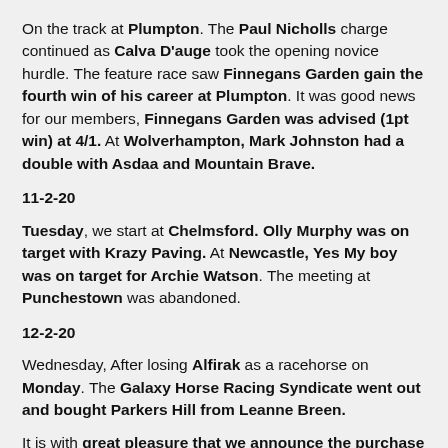On the track at Plumpton. The Paul Nicholls charge continued as Calva D'auge took the opening novice hurdle. The feature race saw Finnegans Garden gain the fourth win of his career at Plumpton. It was good news for our members, Finnegans Garden was advised (1pt win) at 4/1. At Wolverhampton, Mark Johnston had a double with Asdaa and Mountain Brave.
11-2-20
Tuesday, we start at Chelmsford. Olly Murphy was on target with Krazy Paving. At Newcastle, Yes My boy was on target for Archie Watson. The meeting at Punchestown was abandoned.
12-2-20
Wednesday, After losing Alfirak as a racehorse on Monday. The Galaxy Horse Racing Syndicate went out and bought Parkers Hill from Leanne Breen.
It is with great pleasure that we announce the purchase of Parkers Hill who will become our sixth syndicate horse. Parkers Hill was claimed by Leanne Breen at Dundalk 7-